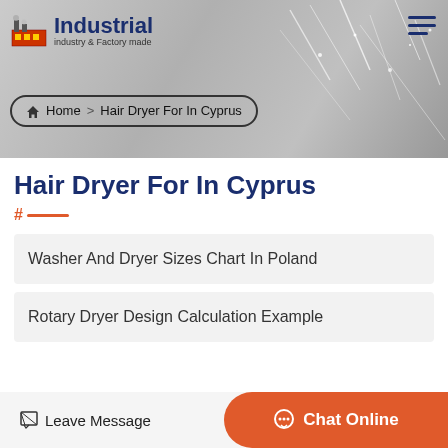Industrial — industry & Factory made
Home > Hair Dryer For In Cyprus
Hair Dryer For In Cyprus
Washer And Dryer Sizes Chart In Poland
Rotary Dryer Design Calculation Example
Leave Message
Chat Online